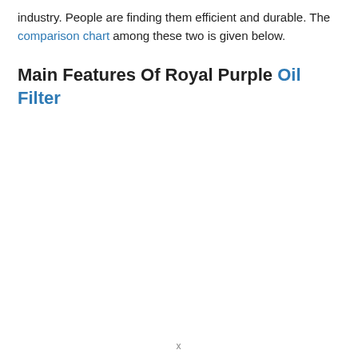industry. People are finding them efficient and durable. The comparison chart among these two is given below.
Main Features Of Royal Purple Oil Filter
x